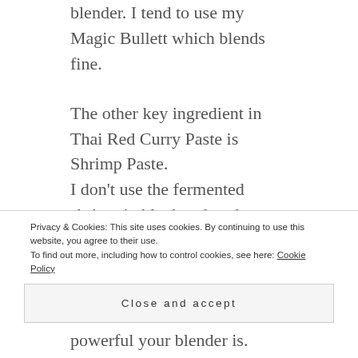blender. I tend to use my Magic Bullett which blends fine.
The other key ingredient in Thai Red Curry Paste is Shrimp Paste.
I don't use the fermented shrimp in block rather the shrimp paste in oil which adds to the colour!
Don't rush the cooking process though, let the sauce fry just for few minutes. When you add the coconut milk let it simmer slowly and gently. Wait for the oils to be released and surface. You will capture the best from
Privacy & Cookies: This site uses cookies. By continuing to use this website, you agree to their use.
To find out more, including how to control cookies, see here: Cookie Policy
Close and accept
1 minute, depending on how powerful your blender is.